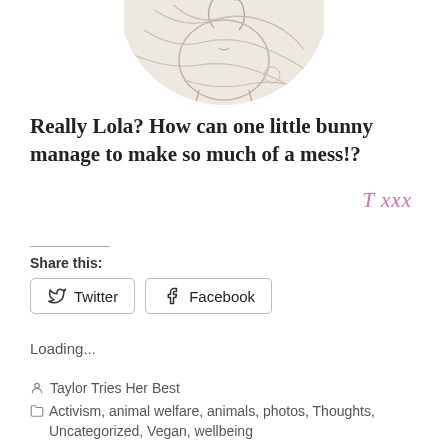[Figure (illustration): Partial circular illustration of a bunny, cropped at top, showing a beige/cream colored drawing on white background]
Really Lola? How can one little bunny manage to make so much of a mess!?
T xxx
Share this:
Twitter
Facebook
Loading...
Taylor Tries Her Best
Activism, animal welfare, animals, photos, Thoughts, Uncategorized, Vegan, wellbeing